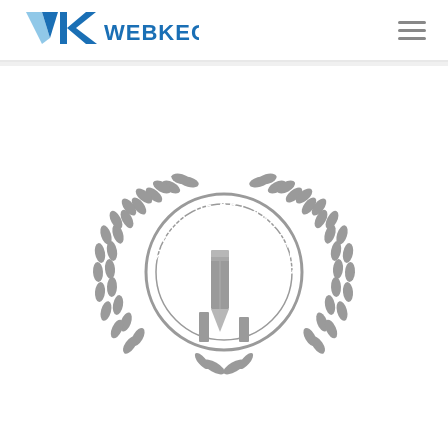[Figure (logo): VK Webkech logo with blue V and K letters and WEBKECH text in blue]
[Figure (logo): School of Art and Design circular seal/emblem with laurel wreath and pencil icon in gray]